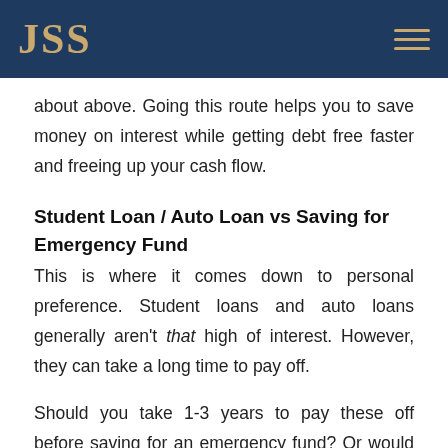JSS
about above. Going this route helps you to save money on interest while getting debt free faster and freeing up your cash flow.
Student Loan / Auto Loan vs Saving for Emergency Fund
This is where it comes down to personal preference. Student loans and auto loans generally aren't that high of interest. However, they can take a long time to pay off.
Should you take 1-3 years to pay these off before saving for an emergency fund? Or would it be smarter to sock away a little extra cash here and